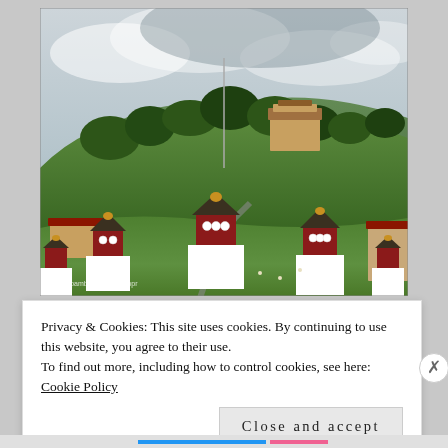[Figure (photo): Photograph of Bhutanese chortens (stupas) with white bases, dark red and brown bands, and golden domes, set on a green hillside with trees and mountains in the cloudy background. A monastery or dzong building is visible on the hilltop. Watermark reads 'Moia @bamboochinaenviropr' at lower left.]
Privacy & Cookies: This site uses cookies. By continuing to use this website, you agree to their use.
To find out more, including how to control cookies, see here:
Cookie Policy
Close and accept